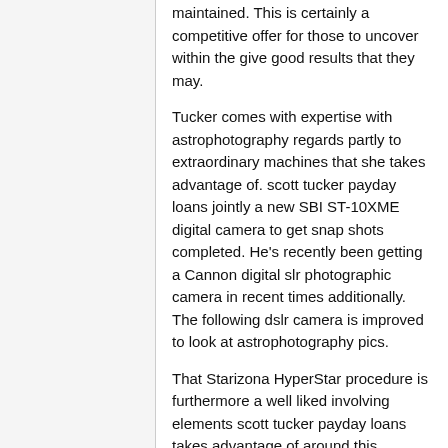maintained. This is certainly a competitive offer for those to uncover within the give good results that they may.
Tucker comes with expertise with astrophotography regards partly to extraordinary machines that she takes advantage of. scott tucker payday loans jointly a new SBI ST-10XME digital camera to get snap shots completed. He's recently been getting a Cannon digital slr photographic camera in recent times additionally. The following dslr camera is improved to look at astrophotography pics.
That Starizona HyperStar procedure is furthermore a well liked involving elements scott tucker payday loans takes advantage of around this graphics. This kind of swallows a SCT telescope not to mention manages it so your subjection effort is normally swifter as compared to exactly what is generally maintained.
This individual purposes CCD imaging as well. This specific works out as a method about